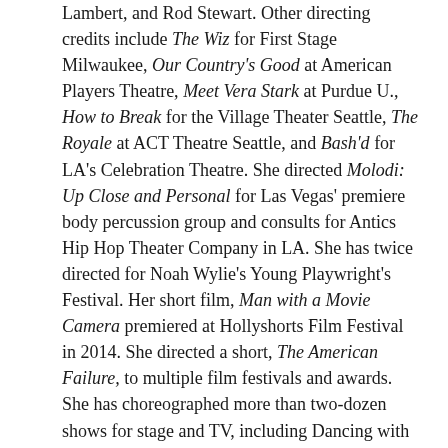Lambert, and Rod Stewart. Other directing credits include The Wiz for First Stage Milwaukee, Our Country's Good at American Players Theatre, Meet Vera Stark at Purdue U., How to Break for the Village Theater Seattle, The Royale at ACT Theatre Seattle, and Bash'd for LA's Celebration Theatre. She directed Molodi: Up Close and Personal for Las Vegas' premiere body percussion group and consults for Antics Hip Hop Theater Company in LA. She has twice directed for Noah Wylie's Young Playwright's Festival. Her short film, Man with a Movie Camera premiered at Hollyshorts Film Festival in 2014. She directed a short, The American Failure, to multiple film festivals and awards. She has choreographed more than two-dozen shows for stage and TV, including Dancing with the Stars. She originated the choreography for The Royale at the Kirk Douglas Theatre in LA and for The Dancing Granny by Ashley Bryan at the Alliance Theatre in Atlanta. Ameenah is the recipient of Gregory, Ovation, Sherwood, Queen of Angels, and multiple NAACP and LA Weekly awards for choreography, fight choreography, and directing.